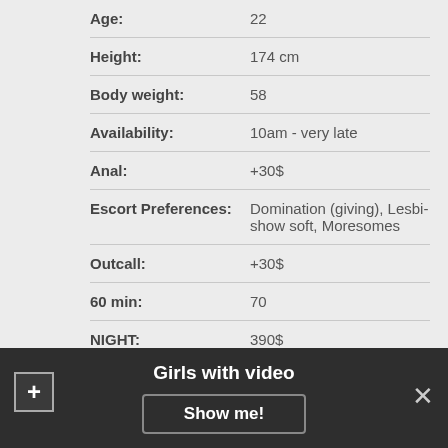| Field | Value |
| --- | --- |
| Age: | 22 |
| Height: | 174 cm |
| Body weight: | 58 |
| Availability: | 10am - very late |
| Anal: | +30$ |
| Escort Preferences: | Domination (giving), Lesbi-show soft, Moresomes |
| Outcall: | +30$ |
| 60 min: | 70 |
| NIGHT: | 390$ |
| Ethnic: | Hungarian |
CONTACT
Girls with video
Show me!